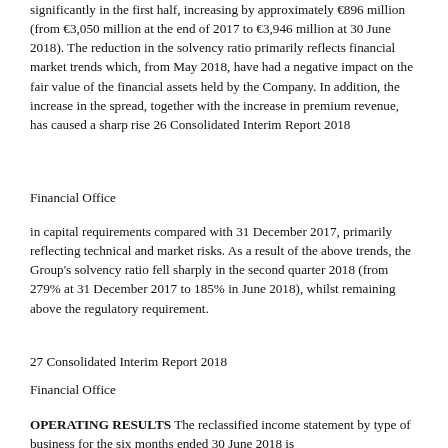significantly in the first half, increasing by approximately €896 million (from €3,050 million at the end of 2017 to €3,946 million at 30 June 2018). The reduction in the solvency ratio primarily reflects financial market trends which, from May 2018, have had a negative impact on the fair value of the financial assets held by the Company. In addition, the increase in the spread, together with the increase in premium revenue, has caused a sharp rise 26 Consolidated Interim Report 2018
Financial Office
in capital requirements compared with 31 December 2017, primarily reflecting technical and market risks. As a result of the above trends, the Group's solvency ratio fell sharply in the second quarter 2018 (from 279% at 31 December 2017 to 185% in June 2018), whilst remaining above the regulatory requirement.
27 Consolidated Interim Report 2018
Financial Office
OPERATING RESULTS The reclassified income statement by type of business for the six months ended 30 June 2018 is